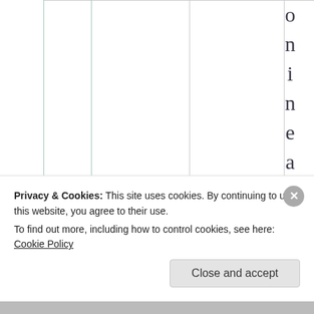[Figure (other): Partial view of a table with vertical column lines (light green/teal) and a column header rendered as vertical text spelling 'oninea chtim', showing cropped letters o, n, i, n, e, a, c, h, t, i, m stacked vertically on the right side of the page.]
Privacy & Cookies: This site uses cookies. By continuing to use this website, you agree to their use.
To find out more, including how to control cookies, see here: Cookie Policy
Close and accept